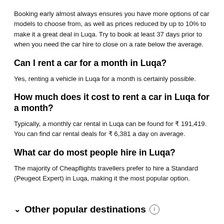Booking early almost always ensures you have more options of car models to choose from, as well as prices reduced by up to 10% to make it a great deal in Luqa. Try to book at least 37 days prior to when you need the car hire to close on a rate below the average.
Can I rent a car for a month in Luqa?
Yes, renting a vehicle in Luqa for a month is certainly possible.
How much does it cost to rent a car in Luqa for a month?
Typically, a monthly car rental in Luqa can be found for ₹ 191,419. You can find car rental deals for ₹ 6,381 a day on average.
What car do most people hire in Luqa?
The majority of Cheapflights travellers prefer to hire a Standard (Peugeot Expert) in Luqa, making it the most popular option.
Other popular destinations